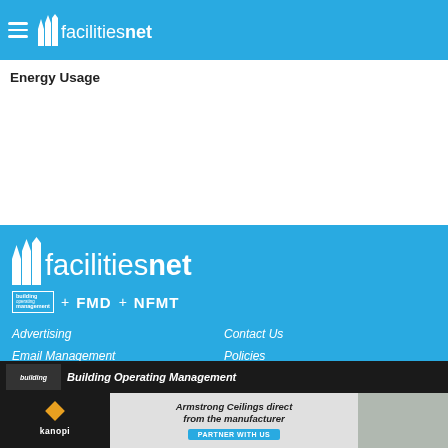facilitiesnet
Management Helps University Reduce Energy Usage
Light Can Effectively Combat COVID-19
[Figure (logo): facilitiesnet logo with building operating management + FMD + NFMT branding]
Advertising
Email Management
Article Directory
Contact Us
Policies
Site Map
Building Operating Management
[Figure (photo): Advertisement banner: Armstrong Ceilings direct from the manufacturer - Kanopi - Partner With Us]